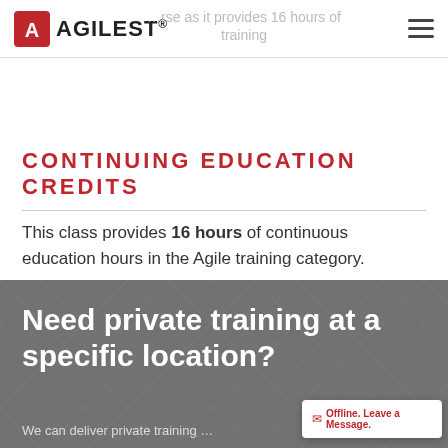AGILEST® — course as it provides 16 hours of training
CONTINUING EDUCATION CREDITS
This class provides 16 hours of continuous education hours in the Agile training category.
[Figure (other): Dark gray banner with diagonal pattern overlay and bold white text reading 'Need private training at a specific location?']
Offline. Leave a Message.